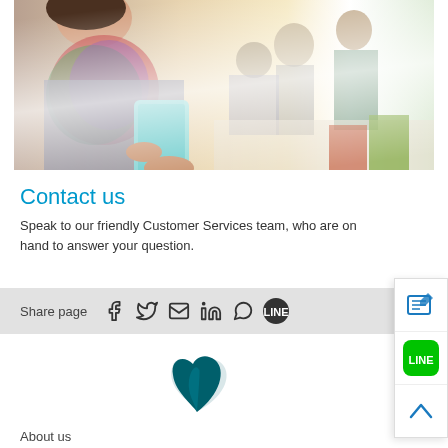[Figure (photo): Photo of a smiling woman with a scarf using a smartphone, with blurred office/students in background]
Contact us
Speak to our friendly Customer Services team, who are on hand to answer your question.
Share page
[Figure (logo): Cathay Pacific airline logo — a teal/dark teal stylized wing/swoosh mark]
About us